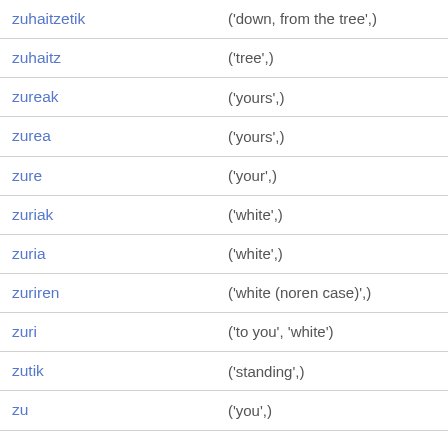| zuhaitzetik | ('down, from the tree',) |
| zuhaitz | ('tree',) |
| zureak | ('yours',) |
| zurea | ('yours',) |
| zure | ('your',) |
| zuriak | ('white',) |
| zuria | ('white',) |
| zuriren | ('white (noren case)',) |
| zuri | ('to you', 'white') |
| zutik | ('standing',) |
| zu | ('you',) |